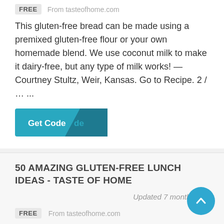FREE   From tasteofhome.com
This gluten-free bread can be made using a premixed gluten-free flour or your own homemade blend. We use coconut milk to make it dairy-free, but any type of milk works! —Courtney Stultz, Weir, Kansas. Go to Recipe. 2 / … ...
[Figure (other): Get Code button with teal background and dark teal folded corner effect]
50 AMAZING GLUTEN-FREE LUNCH IDEAS - TASTE OF HOME
Updated 7 months ago
FREE   From tasteofhome.com
Coconut-Ginger Chickpeas & Tomatoes. This is my go-to quick dish. When you add tomatoes, you can